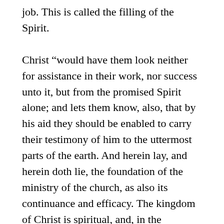job. This is called the filling of the Spirit.
Christ “would have them look neither for assistance in their work, nor success unto it, but from the promised Spirit alone; and lets them know, also, that by his aid they should be enabled to carry their testimony of him to the uttermost parts of the earth. And herein lay, and herein doth lie, the foundation of the ministry of the church, as also its continuance and efficacy. The kingdom of Christ is spiritual, and, in the animating principles of it, invisible. If we fix our minds only on outward order, we lose the rise and power of the whole. It is not an outward visible ordination by men… but Christ’s communication of that Spirit, the